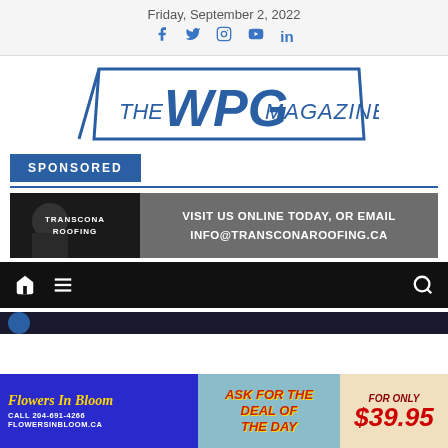Friday, September 2, 2022
[Figure (logo): Social media icons: Facebook, Twitter, Instagram, YouTube, LinkedIn in blue]
[Figure (logo): THE WPG MAGAZINE logo with blue geometric border/slash design]
SPONSORED
[Figure (infographic): Transcona Roofing ad banner: dark background with roofer image on left, text 'VISIT US ONLINE TODAY, OR EMAIL INFO@TRANSCONAROOFING.CA' on grey background on right]
[Figure (infographic): Navigation bar with home icon, hamburger menu icon, and search icon on black background]
[Figure (infographic): Flowers In Bloom ad: blue section with yellow text 'Flowers In Bloom', phone and website; middle teal section 'ASK FOR THE DEAL OF THE DAY'; right beige section 'FOR ONLY $39.95']